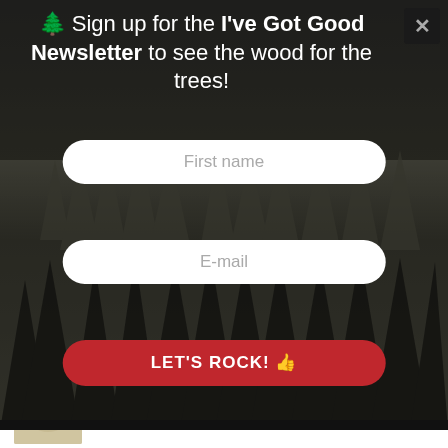[Figure (screenshot): Newsletter signup popup overlay with dark forest background. Contains headline text, two form input fields, and a red submit button.]
🌲 Sign up for the I've Got Good Newsletter to see the wood for the trees!
First name
E-mail
LET'S ROCK! 👍
$12.50
Welcome to Twin Peaks Tote Bag
$14.95
Zig Zag Hoodie (Unisex)
$37.90
f  🐦  reddit  +